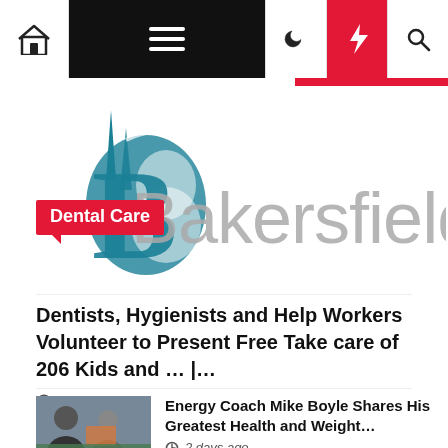Navigation bar with home, menu, night mode, lightning/breaking, and search icons
[Figure (logo): Bakersfield.com website logo with teal church/building icon and gray text]
Dental Care
Dentists, Hygienists and Help Workers Volunteer to Present Free Take care of 206 Kids and … |…
18 hours ago
Energy Coach Mike Boyle Shares His Greatest Health and Weight…
2 days ago